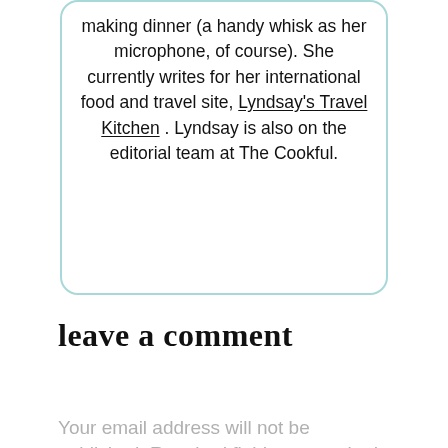making dinner (a handy whisk as her microphone, of course). She currently writes for her international food and travel site, Lyndsay's Travel Kitchen . Lyndsay is also on the editorial team at The Cookful.
leave a comment
Your email address will not be published. Required fields are marked *